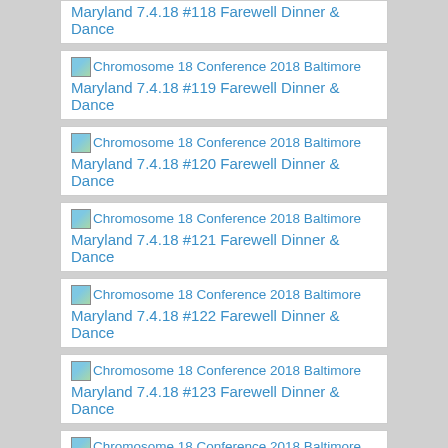Chromosome 18 Conference 2018 Baltimore Maryland 7.4.18 #118 Farewell Dinner & Dance
Chromosome 18 Conference 2018 Baltimore Maryland 7.4.18 #119 Farewell Dinner & Dance
Chromosome 18 Conference 2018 Baltimore Maryland 7.4.18 #120 Farewell Dinner & Dance
Chromosome 18 Conference 2018 Baltimore Maryland 7.4.18 #121 Farewell Dinner & Dance
Chromosome 18 Conference 2018 Baltimore Maryland 7.4.18 #122 Farewell Dinner & Dance
Chromosome 18 Conference 2018 Baltimore Maryland 7.4.18 #123 Farewell Dinner & Dance
Chromosome 18 Conference 2018 Baltimore Maryland 7.4.18 #124 Farewell Dinner & Dance
Chromosome 18 Conference 2018 Baltimore Maryland 7.4.18 #125 Farewell Dinner & Dance